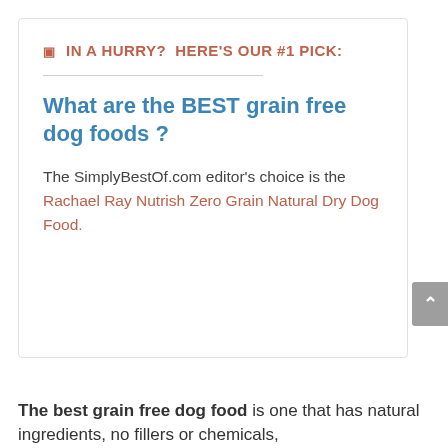🔲 IN A HURRY? HERE'S OUR #1 PICK:
What are the BEST grain free dog foods?
The SimplyBestOf.com editor's choice is the Rachael Ray Nutrish Zero Grain Natural Dry Dog Food.
The best grain free dog food is one that has natural ingredients, no fillers or chemicals,